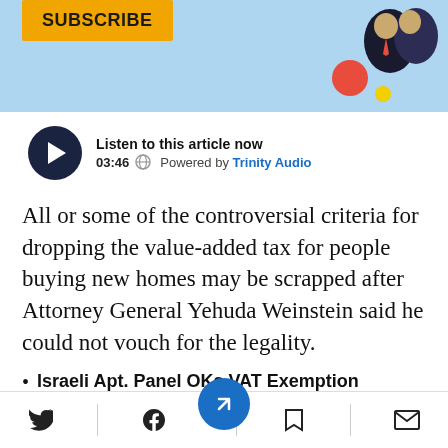SUBSCRIBE
[Figure (infographic): Audio player widget showing play button, duration 03:46, globe icon, and 'Powered by Trinity Audio' text]
All or some of the controversial criteria for dropping the value-added tax for people buying new homes may be scrapped after Attorney General Yehuda Weinstein said he could not vouch for the legality.
Israeli Apt. Panel OKs VAT Exemption
Social sharing toolbar with Twitter, Facebook, bookmark, and email icons